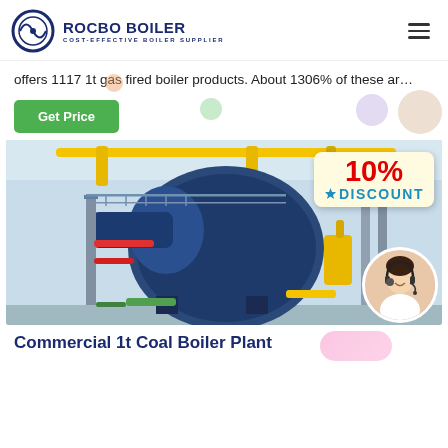[Figure (logo): Rocbo Boiler logo with circular icon and text 'ROCBO BOILER - COST-EFFECTIVE BOILER SUPPLIER']
offers 1117 1t gas fired boiler products. About 1306% of these ar…
[Figure (other): Green Get Price button]
[Figure (photo): Industrial gas fired boiler in a facility with yellow pipes and structural supports. Overlay shows '10% DISCOUNT' badge and a customer service agent in a circular frame.]
Commercial 1t Coal Boiler Plant